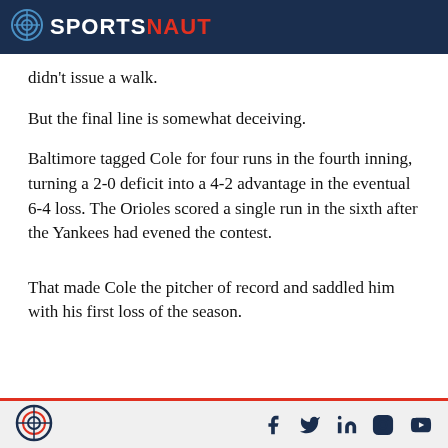SPORTSNAUT
didn't issue a walk.
But the final line is somewhat deceiving.
Baltimore tagged Cole for four runs in the fourth inning, turning a 2-0 deficit into a 4-2 advantage in the eventual 6-4 loss. The Orioles scored a single run in the sixth after the Yankees had evened the contest.
That made Cole the pitcher of record and saddled him with his first loss of the season.
Sportsnaut footer with social icons: Facebook, Twitter, LinkedIn, Instagram, YouTube